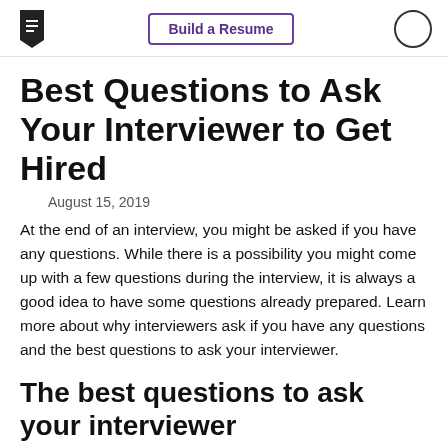Build a Resume
Best Questions to Ask Your Interviewer to Get Hired
August 15, 2019
At the end of an interview, you might be asked if you have any questions. While there is a possibility you might come up with a few questions during the interview, it is always a good idea to have some questions already prepared. Learn more about why interviewers ask if you have any questions and the best questions to ask your interviewer.
The best questions to ask your interviewer